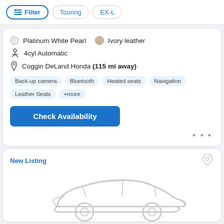Filter | Touring | EX-L
Platinum White Pearl  Ivory leather
4cyl Automatic
Coggin DeLand Honda (115 mi away)
Back-up camera  Bluetooth  Heated seats  Navigation  Leather Seats  +more
Check Availability
New Listing
[Figure (illustration): Outline illustration of a sedan car, light gray color, placeholder image for a vehicle listing]